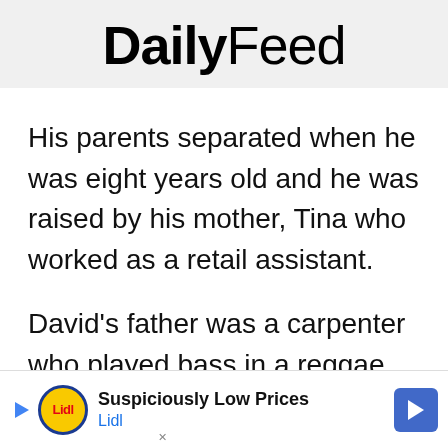DailyFeed
His parents separated when he was eight years old and he was raised by his mother, Tina who worked as a retail assistant.
David's father was a carpenter who played bass in a reggae band called Ebor
[Figure (other): Lidl advertisement banner with 'Suspiciously Low Prices' tagline and Lidl logo]